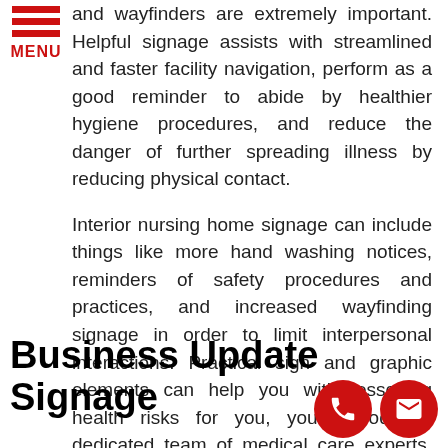[Figure (logo): Red hamburger menu icon with three horizontal red lines and red MENU text below]
and wayfinders are extremely important. Helpful signage assists with streamlined and faster facility navigation, perform as a good reminder to abide by healthier hygiene procedures, and reduce the danger of further spreading illness by reducing physical contact.

Interior nursing home signage can include things like more hand washing notices, reminders of safety procedures and practices, and increased wayfinding signage in order to limit interpersonal interactions. Practical sign and graphic elements can help you with lessening health risks for you, your Woodridge dedicated team of medical care experts, and your new and returning patients.
Business Update Signage
[Figure (illustration): Two red circular contact icons: a phone handset icon and an envelope/email icon, positioned at bottom right]